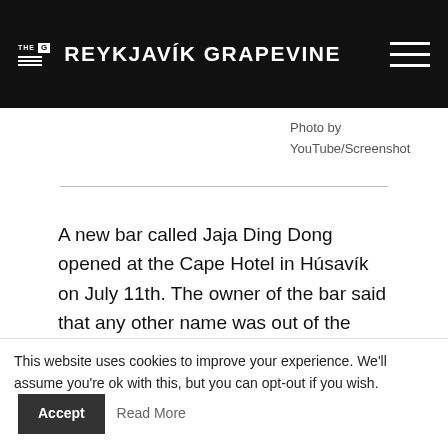THE REYKJAVÍK GRAPEVINE
Photo by YouTube/Screenshot
A new bar called Jaja Ding Dong opened at the Cape Hotel in Húsavík on July 11th. The owner of the bar said that any other name was out of the question after he saw the Eurovision movie starring Will Ferrell and Rachel McAdams, Fréttablaðið reports.
Örlygur Hnefill Örlygsson, owner of the Cape Hotel, had
This website uses cookies to improve your experience. We'll assume you're ok with this, but you can opt-out if you wish.